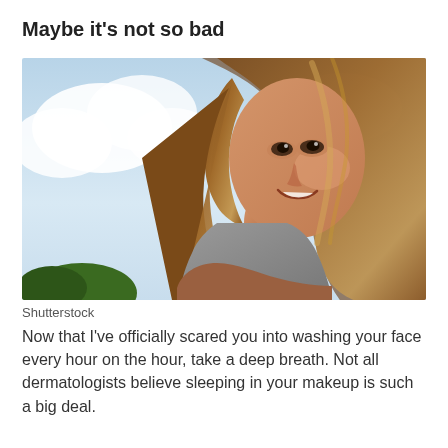Maybe it's not so bad
[Figure (photo): Young smiling woman with long brown hair sitting outdoors against a bright cloudy sky, looking upward and smiling. She is wearing a sleeveless grey top and a bracelet.]
Shutterstock
Now that I've officially scared you into washing your face every hour on the hour, take a deep breath. Not all dermatologists believe sleeping in your makeup is such a big deal.